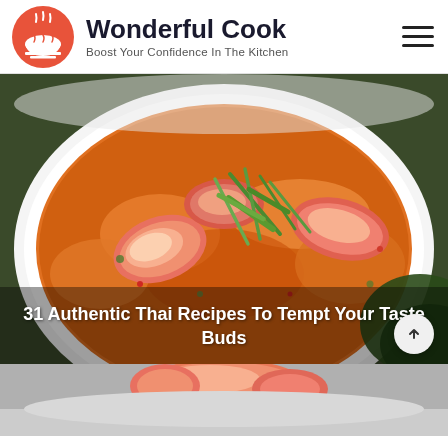Wonderful Cook — Boost Your Confidence In The Kitchen
[Figure (photo): Close-up photo of a white bowl filled with Thai shrimp curry in orange-red broth, garnished with sliced green onions, with a dark wooden background and green leaves visible.]
31 Authentic Thai Recipes To Tempt Your Taste Buds
[Figure (photo): Partial view of a dessert or food item at the bottom of the page, partially cut off.]